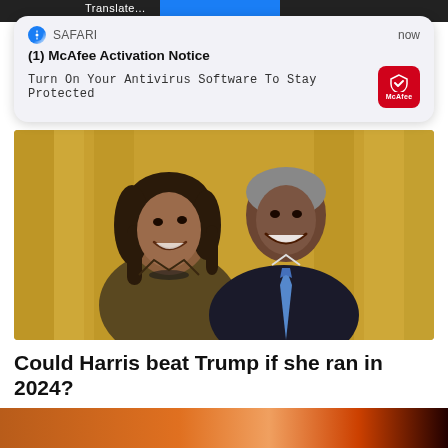[Figure (screenshot): Safari browser notification overlay showing McAfee Activation Notice: '(1) McAfee Activation Notice - Turn On Your Antivirus Software To Stay Protected' with McAfee red icon, displayed over a webpage showing a photo of two people smiling and a poll question.]
[Figure (photo): Photo of two people (a woman and a man) smiling, with a golden/yellow curtain background.]
Could Harris beat Trump if she ran in 2024?
Yes   No
6,126 Votes